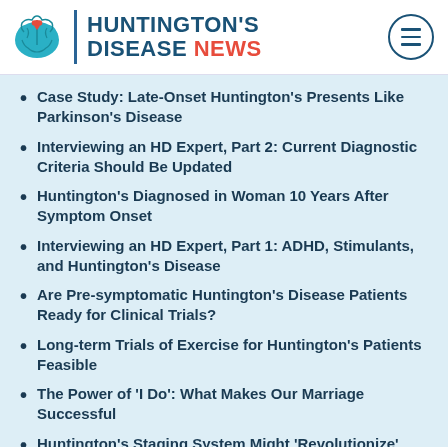HUNTINGTON'S DISEASE NEWS
Case Study: Late-Onset Huntington's Presents Like Parkinson's Disease
Interviewing an HD Expert, Part 2: Current Diagnostic Criteria Should Be Updated
Huntington's Diagnosed in Woman 10 Years After Symptom Onset
Interviewing an HD Expert, Part 1: ADHD, Stimulants, and Huntington's Disease
Are Pre-symptomatic Huntington's Disease Patients Ready for Clinical Trials?
Long-term Trials of Exercise for Huntington's Patients Feasible
The Power of 'I Do': What Makes Our Marriage Successful
Huntington's Staging System Might 'Revolutionize' Trials, Therapy Work